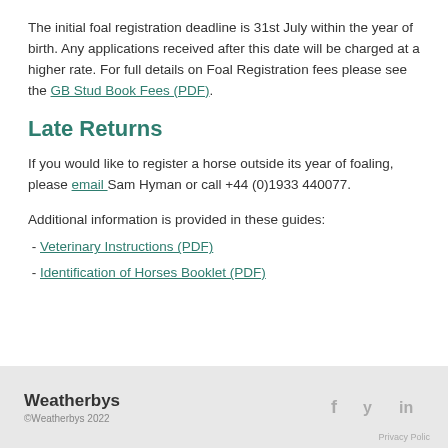The initial foal registration deadline is 31st July within the year of birth. Any applications received after this date will be charged at a higher rate. For full details on Foal Registration fees please see the GB Stud Book Fees (PDF).
Late Returns
If you would like to register a horse outside its year of foaling, please email Sam Hyman or call +44 (0)1933 440077.
Additional information is provided in these guides:
- Veterinary Instructions (PDF)
- Identification of Horses Booklet (PDF)
Weatherbys ©Weatherbys 2022